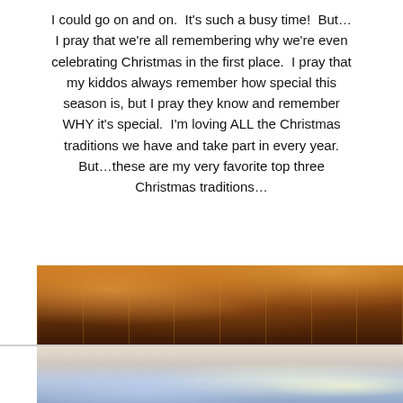I could go on and on.  It's such a busy time!  But…  I pray that we're all remembering why we're even celebrating Christmas in the first place.  I pray that my kiddos always remember how special this season is, but I pray they know and remember WHY it's special.  I'm loving ALL the Christmas traditions we have and take part in every year.  But…these are my very favorite top three Christmas traditions...
[Figure (photo): Warm golden-lit interior photo showing what appears to be large wrapped gift boxes or church organ pipes with warm amber lighting]
[Figure (photo): Outdoor nighttime Christmas scene with lights, trees, and a light-colored sky — partially visible at bottom of page]